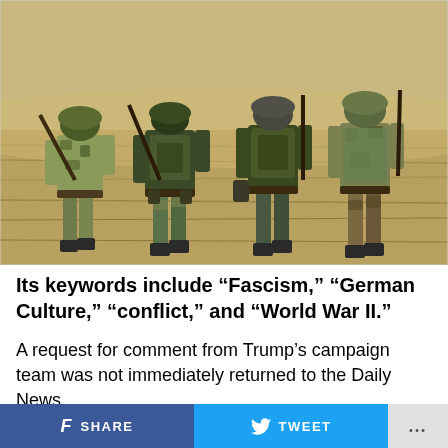[Figure (photo): Four soldiers in World War II German military uniforms and camouflage gear walking through a dry grassy field, viewed from behind, carrying weapons and equipment.]
Its keywords include “Fascism,” “German Culture,” “conflict,” and “World War II.”
A request for comment from Trump’s campaign team was not immediately returned to the Daily News.
SHARE   TWEET   ...